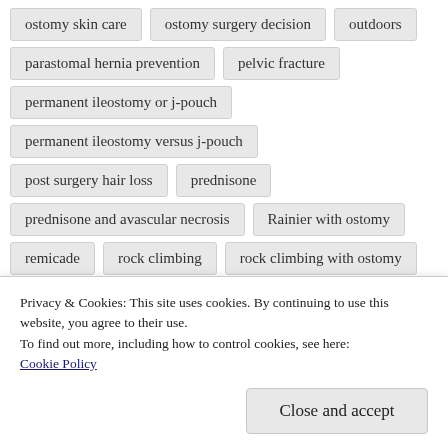ostomy skin care
ostomy surgery decision
outdoors
parastomal hernia prevention
pelvic fracture
permanent ileostomy or j-pouch
permanent ileostomy versus j-pouch
post surgery hair loss
prednisone
prednisone and avascular necrosis
Rainier with ostomy
remicade
rock climbing
rock climbing with ostomy
running with ostomy
sanitation in the wilderness
Privacy & Cookies: This site uses cookies. By continuing to use this website, you agree to their use.
To find out more, including how to control cookies, see here:
Cookie Policy
Close and accept